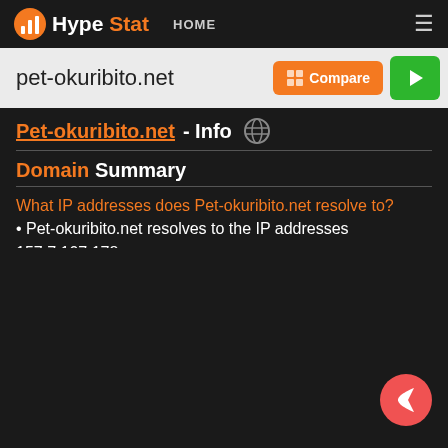HypeStat HOME
pet-okuribito.net
Pet-okuribito.net - Info
Domain Summary
What IP addresses does Pet-okuribito.net resolve to?
Pet-okuribito.net resolves to the IP addresses 157.7.107.178.
Where are Pet-okuribito.net servers located in?
Pet-okuribito.net has servers located in Tokyo, Tokyo, 102-0082, Japan.